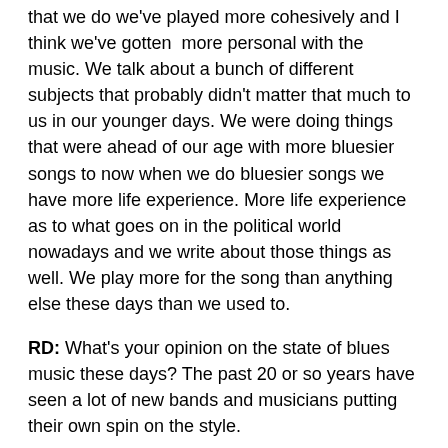that we do we've played more cohesively and I think we've gotten more personal with the music. We talk about a bunch of different subjects that probably didn't matter that much to us in our younger days. We were doing things that were ahead of our age with more bluesier songs to now when we do bluesier songs we have more life experience. More life experience as to what goes on in the political world nowadays and we write about those things as well. We play more for the song than anything else these days than we used to.
RD: What's your opinion on the state of blues music these days? The past 20 or so years have seen a lot of new bands and musicians putting their own spin on the style.
RC: Everything is all generational, it was that way for us too. I can look back to where I was growing up listening to Buddy Guy, Magic Sam, B.B. King, Albert King and Albert Collins and Buddy's still here with us. Nowadays there's